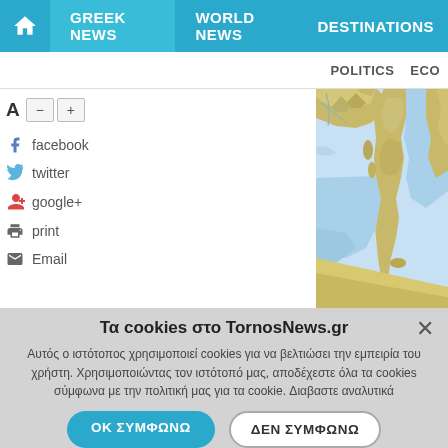GREEK NEWS | WORLD NEWS | DESTINATIONS
POLITICS | ECO
[Figure (screenshot): Social sharing sidebar with font size controls (A, minus, plus), facebook, twitter, google+, print, Email options]
[Figure (map): Physical/topographic map showing southern Europe including Italy, Mediterranean Sea, and surrounding regions]
Τα cookies στο TornosNews.gr
Αυτός ο ιστότοπος χρησιμοποιεί cookies για να βελτιώσει την εμπειρία του χρήστη. Χρησιμοποιώντας τον ιστότοπό μας, αποδέχεστε όλα τα cookies σύμφωνα με την πολιτική μας για τα cookie. Διαβαστε αναλυτικά
ΟΚ ΣΥΜΦΩΝΩ
ΔΕΝ ΣΥΜΦΩΝΩ
ΛΕΠΤΟΜΕΡΕΙΕΣ
POWERED BY COOKIE-SCRIPT